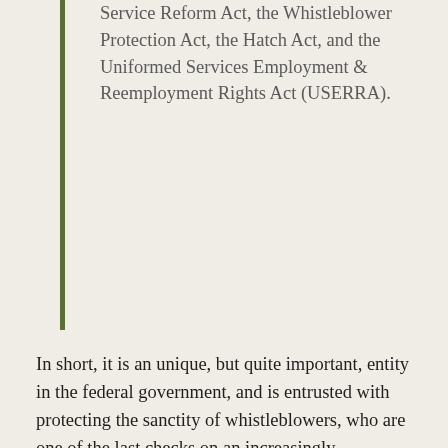Service Reform Act, the Whistleblower Protection Act, the Hatch Act, and the Uniformed Services Employment & Reemployment Rights Act (USERRA).
In short, it is an unique, but quite important, entity in the federal government, and is entrusted with protecting the sanctity of whistleblowers, who are one of the last checks on an increasingly imperious federal government, and especially the Executive Branch thereof. Mr. Bloch refused to do his job appropriately under the Bush/Cheney Administration and, when members of his own staff, including attorneys, attempted to blow the whistle on Bloch, the man entrusted with protecting